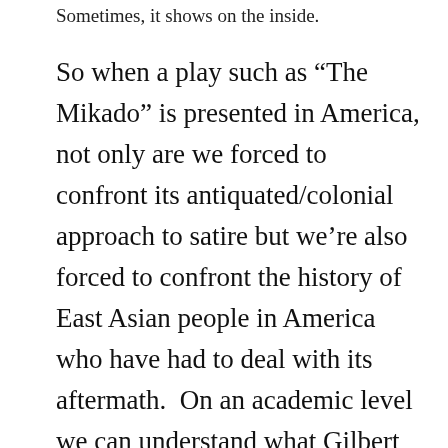Sometimes, it shows on the inside.
So when a play such as “The Mikado” is presented in America, not only are we forced to confront its antiquated/colonial approach to satire but we’re also forced to confront the history of East Asian people in America who have had to deal with its aftermath.  On an academic level we can understand what Gilbert & Sullivan were attempting and we can understand why it worked and we can rationalize why its racial tropes were not unsettling to Victorian British society.  But, as with most art, the piece evokes an emotional response along with the intellectual.  In a different country and over a century and a half after the time of Gilbert & Sullivan, we can’t